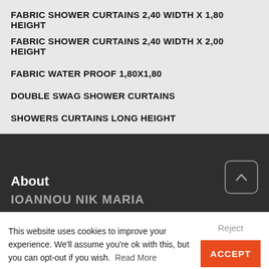FABRIC SHOWER CURTAINS 2,40 WIDTH X 1,80 HEIGHT
FABRIC SHOWER CURTAINS 2,40 WIDTH X 2,00 HEIGHT
FABRIC WATER PROOF 1,80X1,80
DOUBLE SWAG SHOWER CURTAINS
SHOWERS CURTAINS LONG HEIGHT
About
IOANNOU NIK MARIA
This website uses cookies to improve your experience. We'll assume you're ok with this, but you can opt-out if you wish. Read More
Reject
ACCEPT